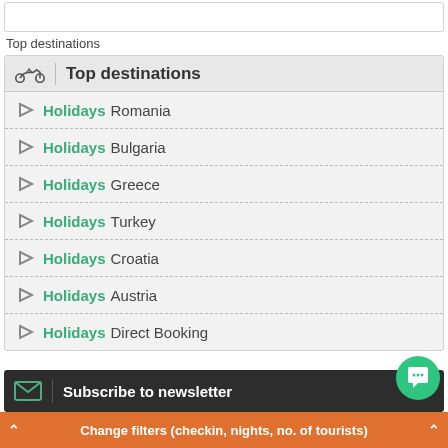Top destinations
[Figure (screenshot): Top destinations widget header with motorcycle icon and bold title 'Top destinations']
Holidays Romania
Holidays Bulgaria
Holidays Greece
Holidays Turkey
Holidays Croatia
Holidays Austria
Holidays Direct Booking
Subscribe to newsletter
Change filters (checkin, nights, no. of tourists)